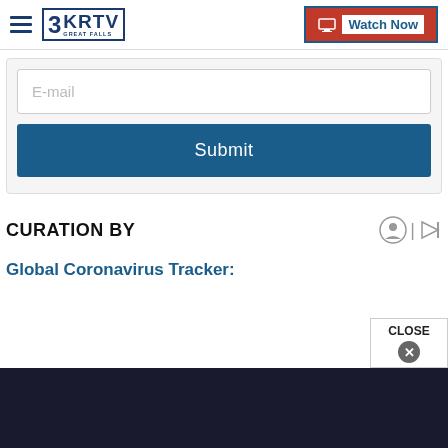3KRTV Great Falls
[Figure (screenshot): Email input field with placeholder 'E-mail' and a blue 'Submit' button below it, inside a light gray rounded card.]
CURATION BY
Global Coronavirus Tracker:
[Figure (screenshot): Dark bottom overlay bar representing an advertisement or modal, with a white 'CLOSE' button and an X icon in the bottom-right corner.]